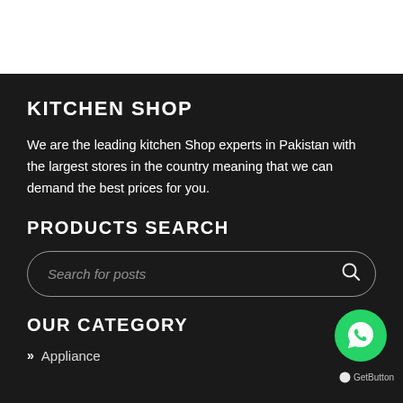KITCHEN SHOP
We are the leading kitchen Shop experts in Pakistan with the largest stores in the country meaning that we can demand the best prices for you.
PRODUCTS SEARCH
Search for posts
OUR CATEGORY
Appliance